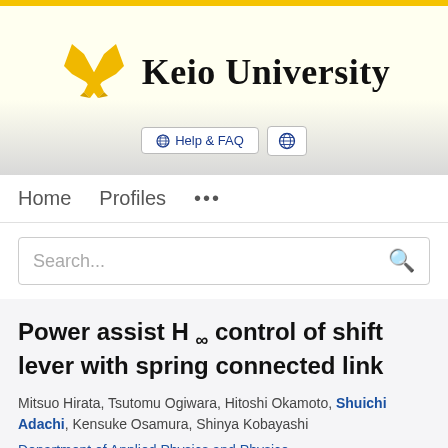[Figure (logo): Keio University logo with crossed pen nibs in gold and university name in serif font]
Help & FAQ
Home   Profiles   ...
Search...
Power assist H ∞ control of shift lever with spring connected link
Mitsuo Hirata, Tsutomu Ogiwara, Hitoshi Okamoto, Shuichi Adachi, Kensuke Osamura, Shinya Kobayashi
Department of Applied Physics and Physico-